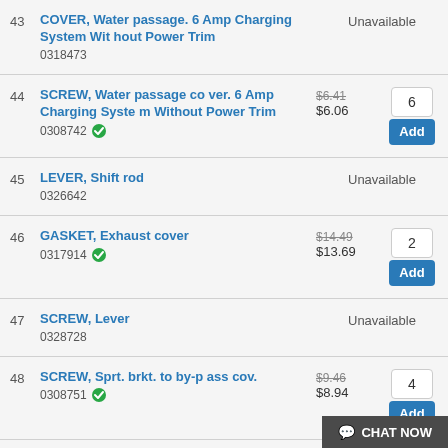43 COVER, Water passage. 6 Amp Charging System Without Power Trim 0318473 — Unavailable
44 SCREW, Water passage cover. 6 Amp Charging System Without Power Trim 0308742 — $6.41 $6.06 — Qty: 6 — Add
45 LEVER, Shift rod 0326642 — Unavailable
46 GASKET, Exhaust cover 0317914 — $14.49 $13.69 — Qty: 2 — Add
47 SCREW, Lever 0328728 — Unavailable
48 SCREW, Sprt. brkt. to by-pass cov. 0308751 — $9.46 $8.94 — Qty: 4 — Add
CHAT NOW